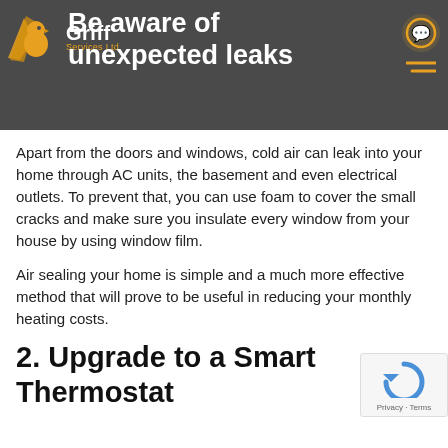Be aware of unexpected leaks
Apart from the doors and windows, cold air can leak into your home through AC units, the basement and even electrical outlets. To prevent that, you can use foam to cover the small cracks and make sure you insulate every window from your house by using window film.
Air sealing your home is simple and a much more effective method that will prove to be useful in reducing your monthly heating costs.
2. Upgrade to a Smart Thermostat